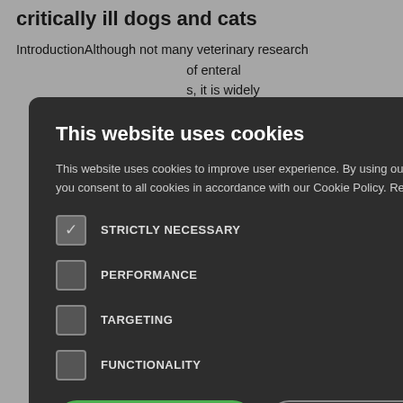critically ill dogs and cats
IntroductionAlthough not many veterinary research … of enteral … s, it is widely … s outcome in … not … ergy and … g. These … my tubes, … This article … and … the … ubes.
f equine
wound … s will include … affecting … limbs and … ne limb. It … g between horses and ponies and help to relate the factors affecting wound healing to certain types of wounds
[Figure (screenshot): Cookie consent modal dialog on dark overlay. Title: 'This website uses cookies'. Body text about cookie policy. Four checkboxes: STRICTLY NECESSARY (checked), PERFORMANCE, TARGETING, FUNCTIONALITY. Two buttons: ACCEPT ALL (green) and DECLINE ALL. Show Details link at bottom.]